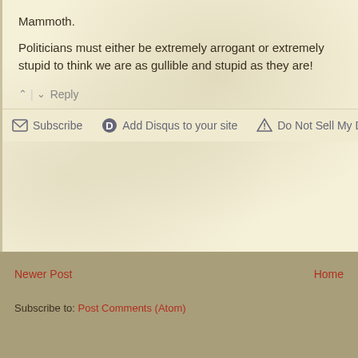Mammoth.
Politicians must either be extremely arrogant or extremely stupid to think we are as gullible and stupid as they are!
^ | v  Reply
Subscribe   Add Disqus to your site   Do Not Sell My D...
Newer Post
Home
Subscribe to: Post Comments (Atom)